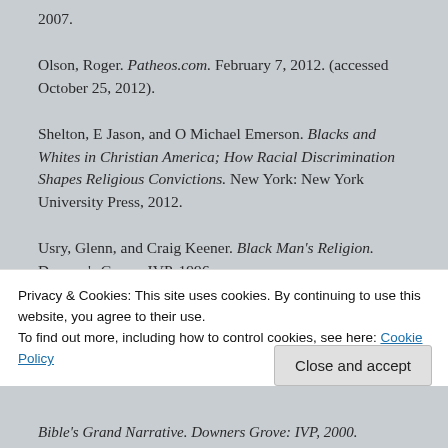2007.
Olson, Roger. Patheos.com. February 7, 2012. (accessed October 25, 2012).
Shelton, E Jason, and O Michael Emerson. Blacks and Whites in Christian America; How Racial Discrimination Shapes Religious Convictions. New York: New York University Press, 2012.
Usry, Glenn, and Craig Keener. Black Man's Religion. Downer's Grove: IVP, 1996.
Privacy & Cookies: This site uses cookies. By continuing to use this website, you agree to their use.
To find out more, including how to control cookies, see here: Cookie Policy
Bible's Grand Narrative. Downers Grove: IVP, 2000.